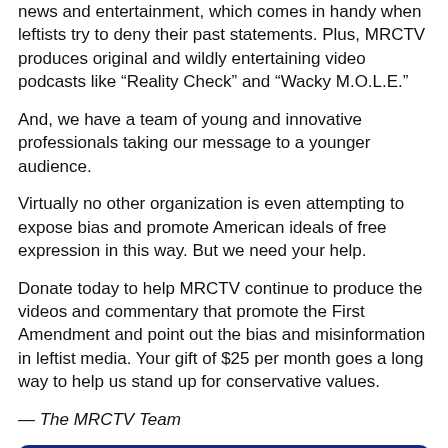news and entertainment, which comes in handy when leftists try to deny their past statements. Plus, MRCTV produces original and wildly entertaining video podcasts like “Reality Check” and “Wacky M.O.L.E.”
And, we have a team of young and innovative professionals taking our message to a younger audience.
Virtually no other organization is even attempting to expose bias and promote American ideals of free expression in this way. But we need your help.
Donate today to help MRCTV continue to produce the videos and commentary that promote the First Amendment and point out the bias and misinformation in leftist media. Your gift of $25 per month goes a long way to help us stand up for conservative values.
— The MRCTV Team
[Figure (other): Dark blue DONATE button with rounded corners and white text]